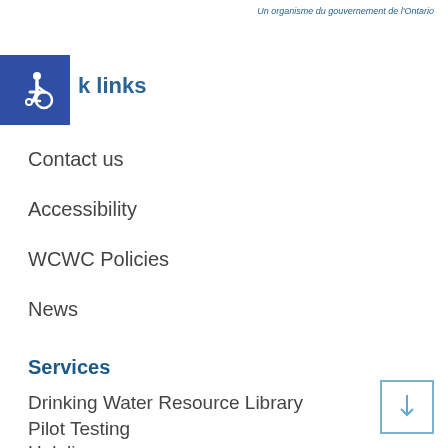Un organisme du gouvernement de l'Ontario
[Figure (illustration): Blue square with white wheelchair accessibility icon]
k links
Contact us
Accessibility
WCWC Policies
News
Services
Drinking Water Resource Library
Pilot Testing
Helpline